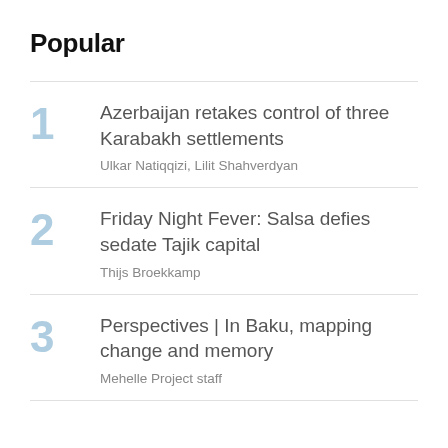Popular
1. Azerbaijan retakes control of three Karabakh settlements — Ulkar Natiqqizi, Lilit Shahverdyan
2. Friday Night Fever: Salsa defies sedate Tajik capital — Thijs Broekkamp
3. Perspectives | In Baku, mapping change and memory — Mehelle Project staff